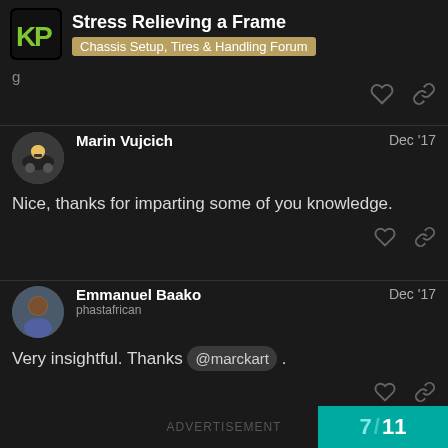Stress Relieving a Frame — Chassis Setup, Tires & Handling Forum
Nice, thanks for imparting some of you knowledge.
Very insightful. Thanks @marckart .